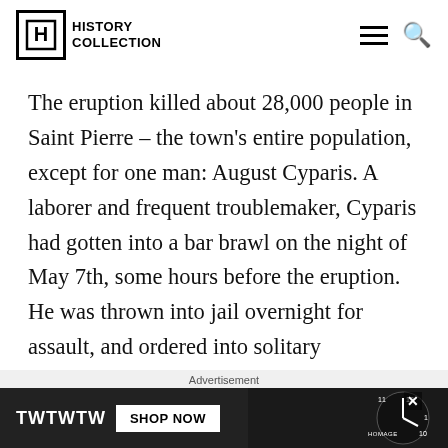HISTORY COLLECTION
The eruption killed about 28,000 people in Saint Pierre – the town's entire population, except for one man: August Cyparis. A laborer and frequent troublemaker, Cyparis had gotten into a bar brawl on the night of May 7th, some hours before the eruption. He was thrown into jail overnight for assault, and ordered into solitary confinement.
Advertisement
[Figure (photo): Advertisement banner showing TWTWTW text on left, SHOP NOW button in center, and a watch face on the right with brand name HOMAGE]